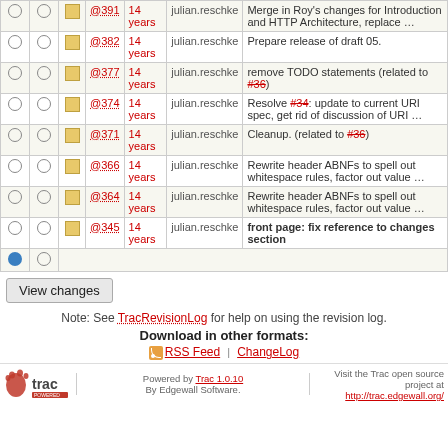|  |  |  | Rev | Age | Author | Log Message |
| --- | --- | --- | --- | --- | --- | --- |
| ○ | ○ | □ | @391 | 14 years | julian.reschke | Merge in Roy's changes for Introduction and HTTP Architecture, replace … |
| ○ | ○ | □ | @382 | 14 years | julian.reschke | Prepare release of draft 05. |
| ○ | ○ | □ | @377 | 14 years | julian.reschke | remove TODO statements (related to #36) |
| ○ | ○ | □ | @374 | 14 years | julian.reschke | Resolve #34: update to current URI spec, get rid of discussion of URI … |
| ○ | ○ | □ | @371 | 14 years | julian.reschke | Cleanup. (related to #36) |
| ○ | ○ | □ | @366 | 14 years | julian.reschke | Rewrite header ABNFs to spell out whitespace rules, factor out value … |
| ○ | ○ | □ | @364 | 14 years | julian.reschke | Rewrite header ABNFs to spell out whitespace rules, factor out value … |
| ○ | ○ | □ | @345 | 14 years | julian.reschke | front page: fix reference to changes section |
| ● | ○ |  |  |  |  |  |
View changes
Note: See TracRevisionLog for help on using the revision log.
Download in other formats: RSS Feed | ChangeLog
Powered by Trac 1.0.10 By Edgewall Software. Visit the Trac open source project at http://trac.edgewall.org/